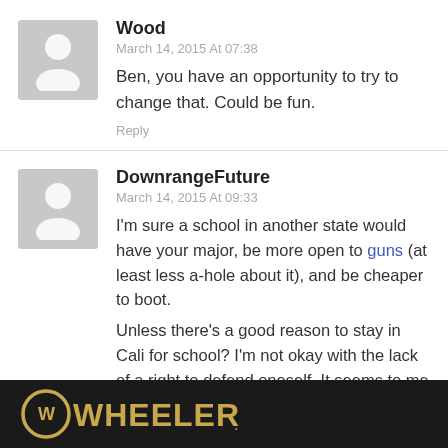Wood
March 14, 2015 At 07:38
Ben, you have an opportunity to try to change that. Could be fun.
Reply
DownrangeFuture
March 14, 2015 At 09:33
I'm sure a school in another state would have your major, be more open to guns (at least less a-hole about it), and be cheaper to boot.
Unless there's a good reason to stay in Cali for school? I'm not okay with the lack of a right to defend oneself. It seems to me that lacking that ould NEED s small-ish
[Figure (logo): Wheeler logo on dark background banner advertisement]